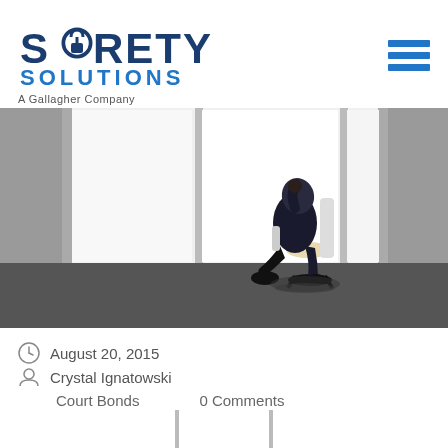[Figure (logo): Surety Solutions - A Gallagher Company logo with padlock icon in the S]
[Figure (photo): Businessperson sitting in an office chair leaning back against a bright window in a large empty room, silhouetted against light]
August 20, 2015
Crystal Ignatowski
Court Bonds    0 Comments